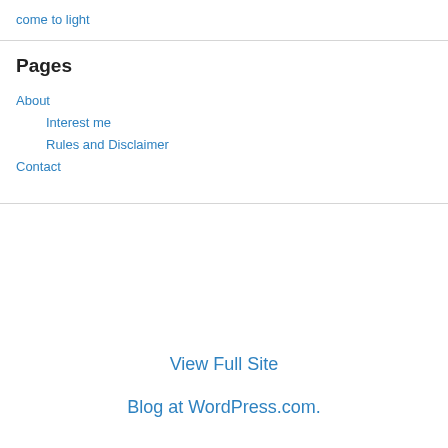come to light
Pages
About
Interest me
Rules and Disclaimer
Contact
View Full Site
Blog at WordPress.com.